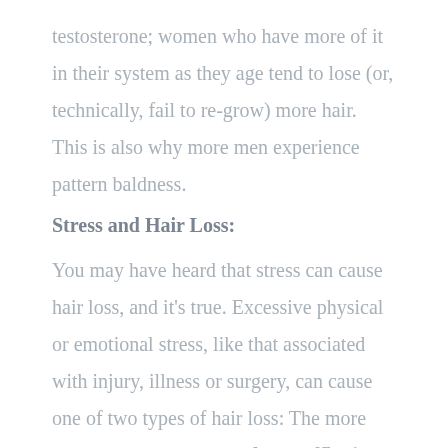testosterone; women who have more of it in their system as they age tend to lose (or, technically, fail to re-grow) more hair. This is also why more men experience pattern baldness.
Stress and Hair Loss:
You may have heard that stress can cause hair loss, and it's true. Excessive physical or emotional stress, like that associated with injury, illness or surgery, can cause one of two types of hair loss: The more common type is called telogen effluvium. With this less severe type of hair loss, the hair stops growing and lies dormant, only to fall out 2 or 3 months later. Then it grows back